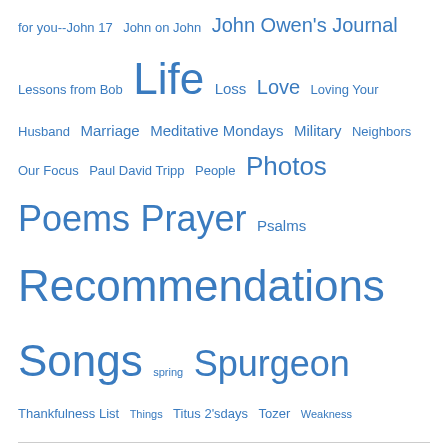for you--John 17  John on John  John Owen's Journal  Lessons from Bob  Life  Loss  Love  Loving Your Husband  Marriage  Meditative Mondays  Military  Neighbors  Our Focus  Paul David Tripp  People  Photos  Poems  Prayer  Psalms  Recommendations  Songs  spring  Spurgeon  Thankfulness List  Things  Titus 2'sdays  Tozer  Weakness
Subscribe to Blog via Email
Enter your email address to subscribe to this blog and receive notifications of new posts by email.
Email Address
Subscribe
Join 502 other followers